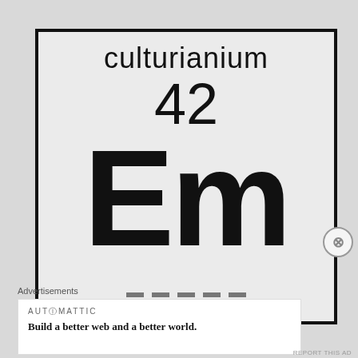[Figure (illustration): Periodic table element card styled graphic for 'culturianium', element number 42, symbol Em, on a light gray background with black border]
Advertisements
AUTOMATTIC
Build a better web and a better world.